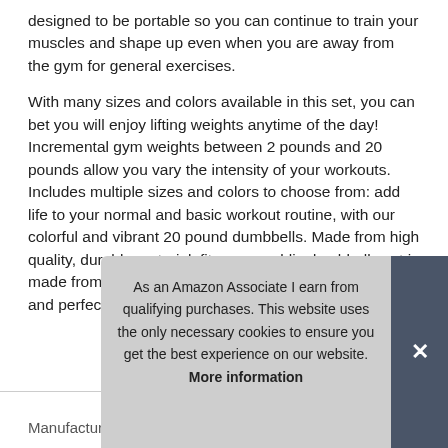designed to be portable so you can continue to train your muscles and shape up even when you are away from the gym for general exercises.
With many sizes and colors available in this set, you can bet you will enjoy lifting weights anytime of the day! Incremental gym weights between 2 pounds and 20 pounds allow you vary the intensity of your workouts. Includes multiple sizes and colors to choose from: add life to your normal and basic workout routine, with our colorful and vibrant 20 pound dumbbells. Made from high quality, durable material: fitness republic dumbbells set is made from tough cast iron material which is affordable and perfect for home use and small pers
As an Amazon Associate I earn from qualifying purchases. This website uses the only necessary cookies to ensure you get the best experience on our website. More information
Manufacturer  Fitness Republic